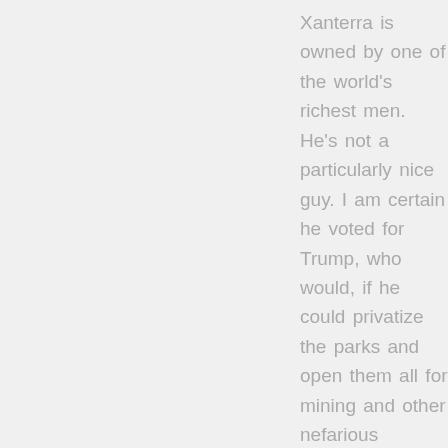Xanterra is owned by one of the world's richest men. He's not a particularly nice guy. I am certain he voted for Trump, who would, if he could privatize the parks and open them all for mining and other nefarious